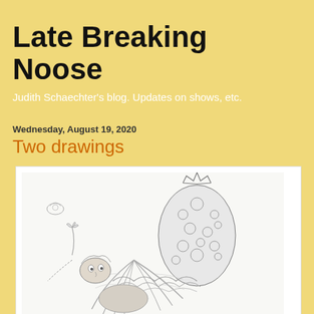Late Breaking Noose
Judith Schaechter's blog. Updates on shows, etc.
Wednesday, August 19, 2020
Two drawings
[Figure (illustration): A detailed pencil drawing of a fantastical creature — a figure lying on its back with fairy wings, wearing a ruffled collar, with a large spotted teardrop/bulbous form above. A small winged figure floats in the upper left. The creature appears whimsical and surreal, rendered in fine graphite detail.]
"De-Luxe" click to enlarge